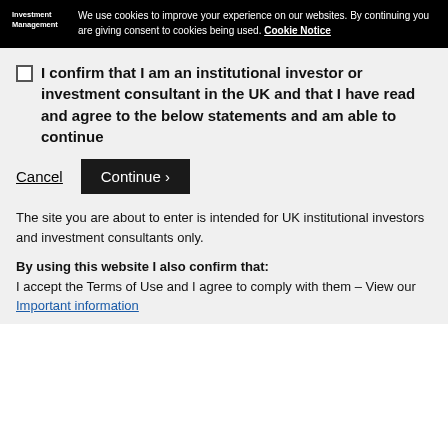Investment Management — We use cookies to improve your experience on our websites. By continuing you are giving consent to cookies being used. Cookie Notice
I confirm that I am an institutional investor or investment consultant in the UK and that I have read and agree to the below statements and am able to continue
Cancel | Continue ›
The site you are about to enter is intended for UK institutional investors and investment consultants only.
By using this website I also confirm that: I accept the Terms of Use and I agree to comply with them – View our Important information